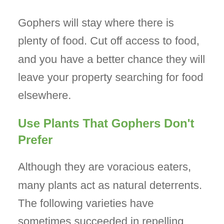Gophers will stay where there is plenty of food. Cut off access to food, and you have a better chance they will leave your property searching for food elsewhere.
Use Plants That Gophers Don't Prefer
Although they are voracious eaters, many plants act as natural deterrents. The following varieties have sometimes succeeded in repelling gophers: lavender, rosemary, sage, daffodils, iris, thyme,